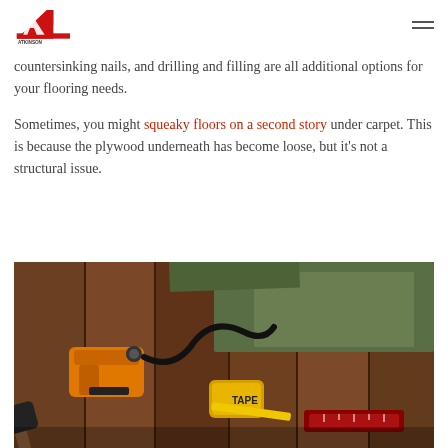Atkinson logo and hamburger menu
countersinking nails, and drilling and filling are all additional options for your flooring needs.
Sometimes, you might squeaky floors on a second story under carpet. This is because the plywood underneath has become loose, but it's not a structural issue.
[Figure (photo): Flooring installation tools including a nail gun, tape measure, rubber mallet, and wood flooring planks on a green underlayment background.]